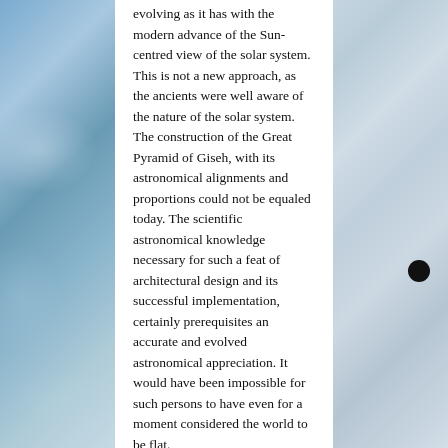[Figure (photo): Background photo of a blue-white planet (likely Jupiter or Neptune) on the left side of the page]
[Figure (photo): Background photo of a gas giant planet with cloud bands and a black moon or shadow transit visible, on the right side of the page]
evolving as it has with the modern advance of the Sun-centred view of the solar system. This is not a new approach, as the ancients were well aware of the nature of the solar system. The construction of the Great Pyramid of Giseh, with its astronomical alignments and proportions could not be equaled today. The scientific astronomical knowledge necessary for such a feat of architectural design and its successful implementation, certainly prerequisites an accurate and evolved astronomical appreciation. It would have been impossible for such persons to have even for a moment considered the world to be flat.
To my mind it is simply arrogance and naivety, on the part of modern astronomers and scientists, to regard those who have gone before us as having less intelligence than ourselves.